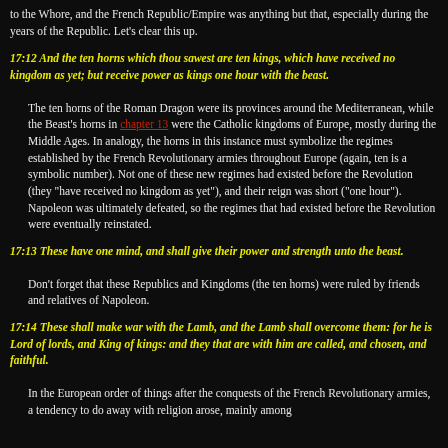to the Whore, and the French Republic/Empire was anything but that, especially during the years of the Republic. Let's clear this up.
17:12 And the ten horns which thou sawest are ten kings, which have received no kingdom as yet; but receive power as kings one hour with the beast.
The ten horns of the Roman Dragon were its provinces around the Mediterranean, while the Beast's horns in chapter 13 were the Catholic kingdoms of Europe, mostly during the Middle Ages. In analogy, the horns in this instance must symbolize the regimes established by the French Revolutionary armies throughout Europe (again, ten is a symbolic number). Not one of these new regimes had existed before the Revolution (they "have received no kingdom as yet"), and their reign was short ("one hour"). Napoleon was ultimately defeated, so the regimes that had existed before the Revolution were eventually reinstated.
17:13 These have one mind, and shall give their power and strength unto the beast.
Don't forget that these Republics and Kingdoms (the ten horns) were ruled by friends and relatives of Napoleon.
17:14 These shall make war with the Lamb, and the Lamb shall overcome them: for he is Lord of lords, and King of kings: and they that are with him are called, and chosen, and faithful.
In the European order of things after the conquests of the French Revolutionary armies, a tendency to do away with religion arose, mainly among